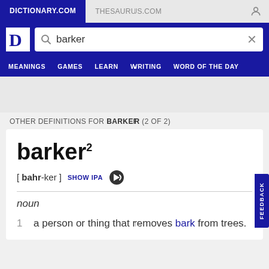DICTIONARY.COM   THESAURUS.COM
[Figure (screenshot): Dictionary.com logo with stylized D and search bar with 'barker' query]
MEANINGS   GAMES   LEARN   WRITING   WORD OF THE DAY
OTHER DEFINITIONS FOR BARKER (2 OF 2)
barker²
[ bahr-ker ]  SHOW IPA  🔊
noun
1  a person or thing that removes bark from trees.